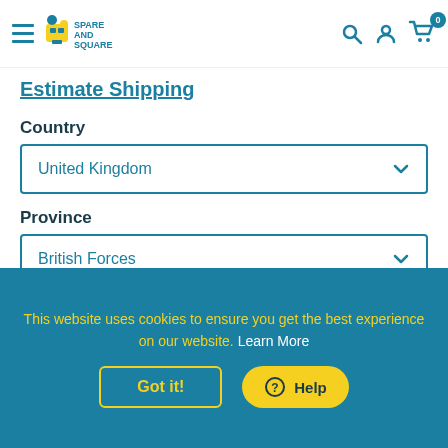Spare and Square — navigation bar with logo, search, account, cart (0)
Estimate Shipping
Country
United Kingdom
Province
British Forces
Zip code
This website uses cookies to ensure you get the best experience on our website. Learn More
Got it!
Help